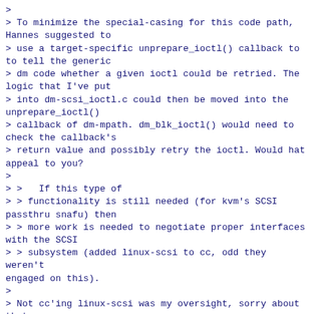>
> To minimize the special-casing for this code path, Hannes suggested to
> use a target-specific unprepare_ioctl() callback to to tell the generic
> dm code whether a given ioctl could be retried. The logic that I've put
> into dm-scsi_ioctl.c could then be moved into the unprepare_ioctl()
> callback of dm-mpath. dm_blk_ioctl() would need to check the callback's
> return value and possibly retry the ioctl. Would hat appeal to you?
>
> >   If this type of
> > functionality is still needed (for kvm's SCSI passthru snafu) then
> > more work is needed to negotiate proper interfaces with the SCSI
> > subsystem (added linux-scsi to cc, odd they weren't engaged on this).
>
> Not cc'ing linux-scsi was my oversight, sorry about that.
>
> But I don't quite understand what interfaces you have in mind. SCSI
> needs to expose the SG_IO interface to dm, which it does; I just needed
> to export sg_io() to get access to the sg_io_hdr